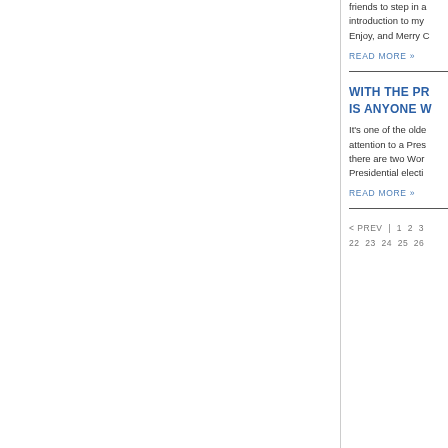friends to step in as introduction to my Enjoy, and Merry C
READ MORE »
WITH THE PR IS ANYONE W
It's one of the olde attention to a Pres there are two Wor Presidential electi
READ MORE »
< PREV  |  1  2  3  22  23  24  25  26